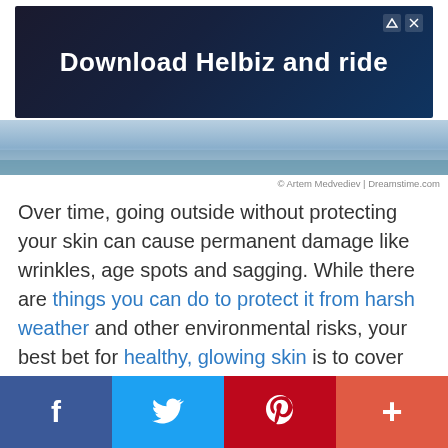[Figure (screenshot): Advertisement banner: 'Download Helbiz and ride' with dark background and scooter imagery]
[Figure (photo): Partial photo strip showing outdoor/sky scene]
© Artem Medvediev | Dreamstime.com
Over time, going outside without protecting your skin can cause permanent damage like wrinkles, age spots and sagging. While there are things you can do to protect it from harsh weather and other environmental risks, your best bet for healthy, glowing skin is to cover up and apply sunscreen daily, even if it's overcast or cold out.
[Figure (infographic): Social media sharing bar with Facebook, Twitter, Pinterest, and plus (+) buttons]